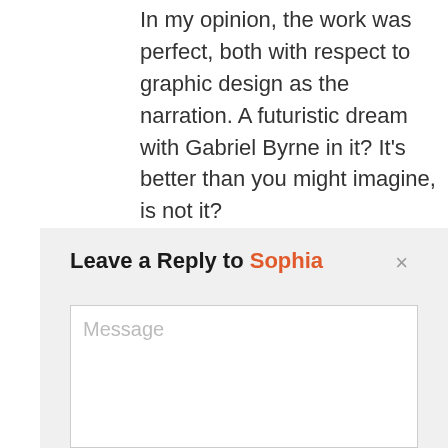In my opinion, the work was perfect, both with respect to graphic design as the narration. A futuristic dream with Gabriel Byrne in it? It's better than you might imagine, is not it?
The voice is simply perfect!
Leave a Reply to Sophia ×
Message